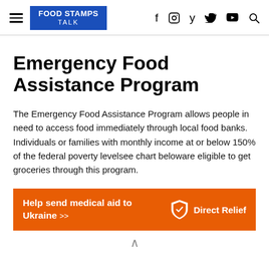FOOD STAMPS TALK — navigation header with social icons
Emergency Food Assistance Program
The Emergency Food Assistance Program allows people in need to access food immediately through local food banks. Individuals or families with monthly income at or below 150% of the federal poverty levelsee chart beloware eligible to get groceries through this program.
[Figure (infographic): Orange advertisement banner: Help send medical aid to Ukraine >> with Direct Relief logo]